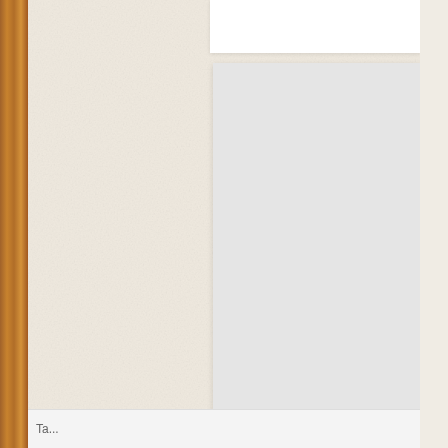[Figure (photo): Webpage screenshot showing a textured cream/off-white paper background with a wooden brown vertical bar on the left edge. On the right side, there is a white card panel at top and a gray card below it showing the text 'Sam' partially visible at bottom right. Below the cards is a Share label in dark red/brown color, and three social media circular buttons (Facebook blue, Twitter blue, Pinterest red). At the very bottom is a partial white bar likely for tags.]
Sam
Share:
[Figure (infographic): Three circular social media share buttons: Facebook (blue circle with 'f' icon), Twitter (cyan/blue circle with bird icon), Pinterest (red circle with 'P' icon)]